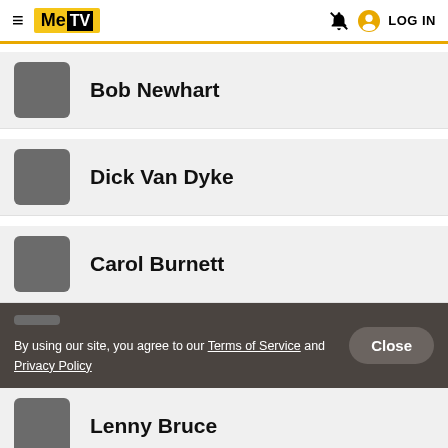MeTV — LOG IN
Bob Newhart
Dick Van Dyke
Carol Burnett
By using our site, you agree to our Terms of Service and Privacy Policy
Lenny Bruce